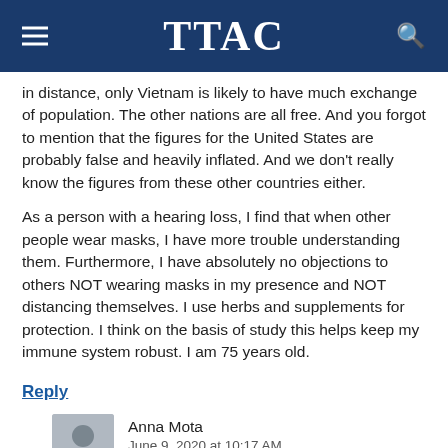TTAC
in distance, only Vietnam is likely to have much exchange of population. The other nations are all free. And you forgot to mention that the figures for the United States are probably false and heavily inflated. And we don’t really know the figures from these other countries either.
As a person with a hearing loss, I find that when other people wear masks, I have more trouble understanding them. Furthermore, I have absolutely no objections to others NOT wearing masks in my presence and NOT distancing themselves. I use herbs and supplements for protection. I think on the basis of study this helps keep my immune system robust. I am 75 years old.
Reply
Anna Mota
June 9, 2020 at 10:17 AM